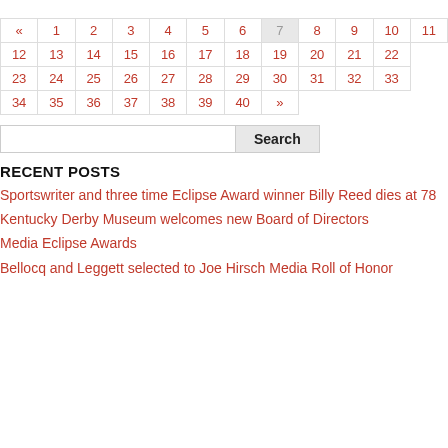| « | 1 | 2 | 3 | 4 | 5 | 6 | 7 | 8 | 9 | 10 | 11 |
| 12 | 13 | 14 | 15 | 16 | 17 | 18 | 19 | 20 | 21 | 22 |
| 23 | 24 | 25 | 26 | 27 | 28 | 29 | 30 | 31 | 32 | 33 |
| 34 | 35 | 36 | 37 | 38 | 39 | 40 | » |
Search
RECENT POSTS
Sportswriter and three time Eclipse Award winner Billy Reed dies at 78
Kentucky Derby Museum welcomes new Board of Directors
Media Eclipse Awards
Bellocq and Leggett selected to Joe Hirsch Media Roll of Honor